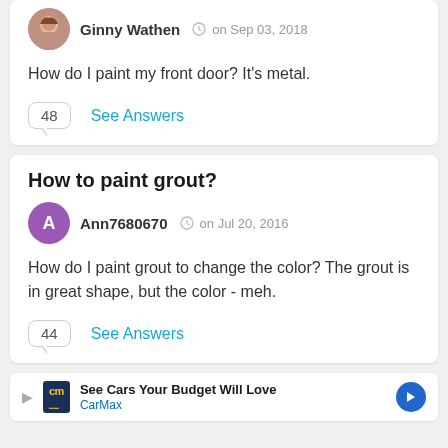How to paint a metal front door?
Ginny Wathen  on Sep 03, 2018
How do I paint my front door? It's metal.
48  See Answers
How to paint grout?
Ann7680670  on Jul 20, 2016
How do I paint grout to change the color? The grout is in great shape, but the color - meh.
44  See Answers
See Cars Your Budget Will Love CarMax